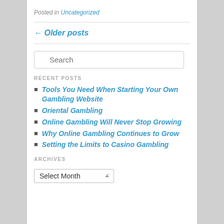Posted in Uncategorized
← Older posts
Search
RECENT POSTS
Tools You Need When Starting Your Own Gambling Website
Oriental Gambling
Online Gambling Will Never Stop Growing
Why Online Gambling Continues to Grow
Setting the Limits to Casino Gambling
ARCHIVES
Select Month